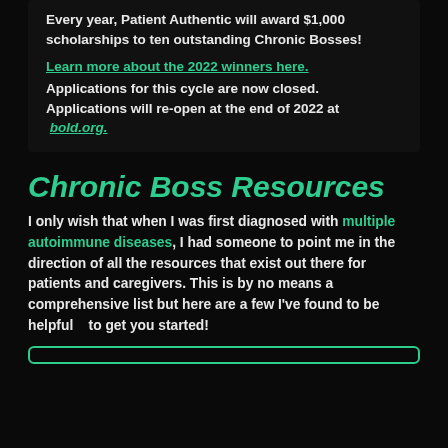Every year, Patient Authentic will award $1,000 scholarships to ten outstanding Chronic Bosses!
Learn more about the 2022 winners here. Applications for this cycle are now closed. Applications will re-open at the end of 2022 at bold.org.
Chronic Boss Resources
I only wish that when I was first diagnosed with multiple autoimmune diseases, I had someone to point me in the direction of all the resources that exist out there for patients and caregivers. This is by no means a comprehensive list but here are a few I've found to be helpful   to get you started!